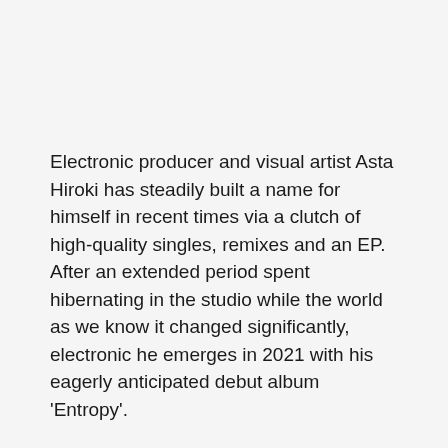Electronic producer and visual artist Asta Hiroki has steadily built a name for himself in recent times via a clutch of high-quality singles, remixes and an EP. After an extended period spent hibernating in the studio while the world as we know it changed significantly, electronic he emerges in 2021 with his eagerly anticipated debut album 'Entropy'.
Spanning leftfield electronica, downtempo, contemporary jazz, and hip hop, and recorded across studios in UK, Colombia, USA, and Cyprus, it's a